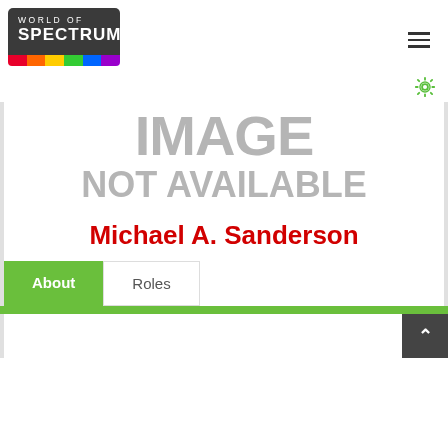[Figure (logo): World of Spectrum logo — dark grey rounded rectangle with 'WORLD OF SPECTRUM' text in white and a rainbow stripe at the bottom]
[Figure (other): Hamburger menu icon (three horizontal lines) in the top right corner]
[Figure (other): Gear/settings icon in green on the right side below the header]
[Figure (other): Large grey placeholder text reading 'IMAGE NOT AVAILABLE']
Michael A. Sanderson
About
Roles